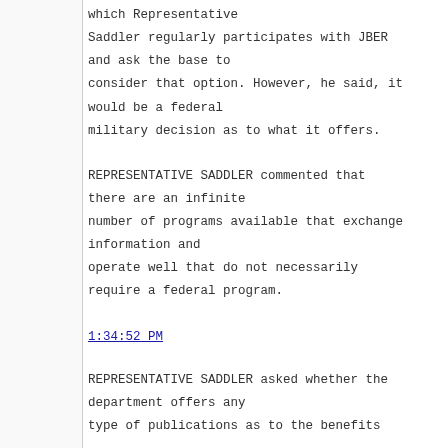which Representative Saddler regularly participates with JBER and ask the base to consider that option. However, he said, it would be a federal military decision as to what it offers.
REPRESENTATIVE SADDLER commented that there are an infinite number of programs available that exchange information and operate well that do not necessarily require a federal program.
1:34:52 PM
REPRESENTATIVE SADDLER asked whether the department offers any type of publications as to the benefits